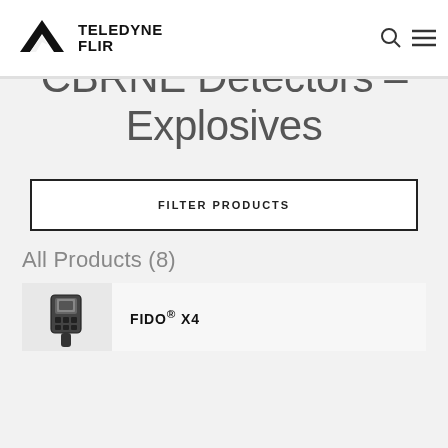[Figure (logo): Teledyne FLIR logo with black arrow/wing mark and bold text reading TELEDYNE FLIR]
TELEDYNE FLIR
SUPPORT CENTER
CBRNE Detectors – Explosives
FILTER PRODUCTS
All Products (8)
FIDO® X4